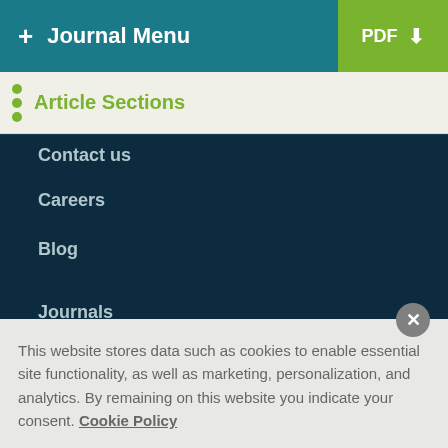+ Journal Menu | PDF ↓
Article Sections
Contact us
Careers
Blog
Journals
Article Processing Charges
Print editions
This website stores data such as cookies to enable essential site functionality, as well as marketing, personalization, and analytics. By remaining on this website you indicate your consent. Cookie Policy